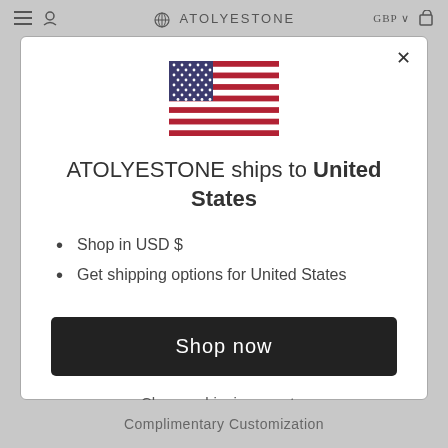ATOLYESTONE
[Figure (illustration): US flag SVG illustration]
ATOLYESTONE ships to United States
Shop in USD $
Get shipping options for United States
Shop now
Change shipping country
Complimentary Customization